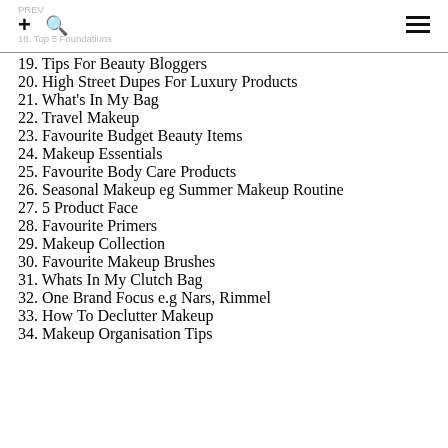18. Top 5 Foundations
19. Tips For Beauty Bloggers
20. High Street Dupes For Luxury Products
21. What's In My Bag
22. Travel Makeup
23. Favourite Budget Beauty Items
24. Makeup Essentials
25. Favourite Body Care Products
26. Seasonal Makeup eg Summer Makeup Routine
27. 5 Product Face
28. Favourite Primers
29. Makeup Collection
30. Favourite Makeup Brushes
31. Whats In My Clutch Bag
32. One Brand Focus e.g Nars, Rimmel
33. How To Declutter Makeup
34. Makeup Organisation Tips